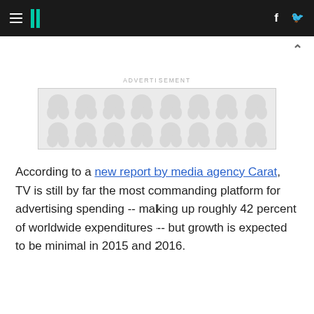HuffPost navigation with hamburger menu, logo, Facebook and Twitter icons
[Figure (other): Advertisement placeholder banner with decorative polka-dot/organic shape pattern in light gray]
According to a new report by media agency Carat, TV is still by far the most commanding platform for advertising spending -- making up roughly 42 percent of worldwide expenditures -- but growth is expected to be minimal in 2015 and 2016.